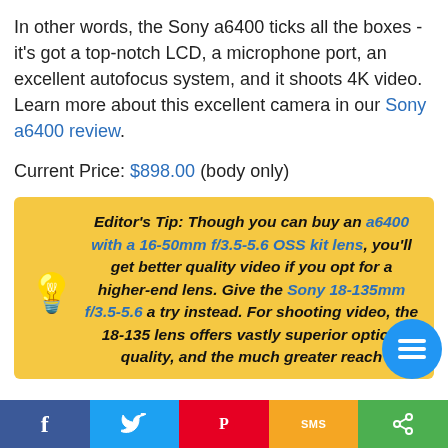In other words, the Sony a6400 ticks all the boxes - it's got a top-notch LCD, a microphone port, an excellent autofocus system, and it shoots 4K video. Learn more about this excellent camera in our Sony a6400 review.
Current Price: $898.00 (body only)
Editor's Tip: Though you can buy an a6400 with a 16-50mm f/3.5-5.6 OSS kit lens, you'll get better quality video if you opt for a higher-end lens. Give the Sony 18-135mm f/3.5-5.6 a try instead. For shooting video, the 18-135 lens offers vastly superior optical quality, and the much greater reach
[Figure (infographic): Social sharing bar with Facebook, Twitter, Pinterest, SMS, and share icons at the bottom of the page]